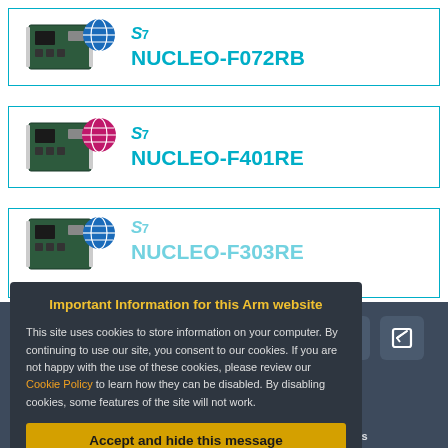[Figure (screenshot): Product card for NUCLEO-F072RB: ST logo and Nucleo board image on left, product name 'NUCLEO-F072RB' in teal on right]
[Figure (screenshot): Product card for NUCLEO-F401RE: ST logo and Nucleo board image with pink globe on left, product name 'NUCLEO-F401RE' in teal on right]
[Figure (screenshot): Partial product card for a third Nucleo board, partially obscured by cookie popup]
Important Information for this Arm website
This site uses cookies to store information on your computer. By continuing to use our site, you consent to our cookies. If you are not happy with the use of these cookies, please review our Cookie Policy to learn how they can be disabled. By disabling cookies, some features of the site will not work.
Accept and hide this message
Copyright © 2024 Arm Limited (or its affiliates).
Home | Website Terms | Privacy | Cookies | Trademarks